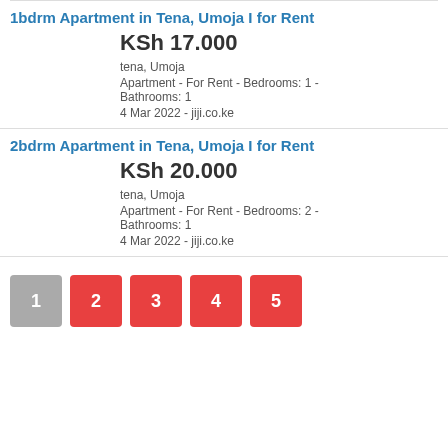1bdrm Apartment in Tena, Umoja I for Rent
KSh 17.000
tena, Umoja
Apartment - For Rent - Bedrooms: 1 - Bathrooms: 1
4 Mar 2022 - jiji.co.ke
2bdrm Apartment in Tena, Umoja I for Rent
KSh 20.000
tena, Umoja
Apartment - For Rent - Bedrooms: 2 - Bathrooms: 1
4 Mar 2022 - jiji.co.ke
1 2 3 4 5